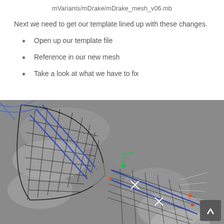mVariants/mDrake/mDrake_mesh_v06.mb
Next we need to get our template lined up with these changes.
Open up our template file
Reference in our new mesh
Take a look at what we have to fix
[Figure (screenshot): 3D wireframe mesh of a character limb (likely arm or leg) shown in a Maya/3D software viewport. The mesh shows blue and black wireframe lines over a grey background, with visible control points and rigging elements at a joint area.]